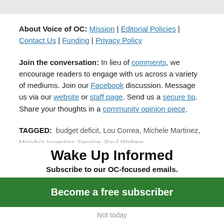About Voice of OC: Mission | Editorial Policies | Contact Us | Funding | Privacy Policy
Join the conversation: In lieu of comments, we encourage readers to engage with us across a variety of mediums. Join our Facebook discussion. Message us via our website or staff page. Send us a secure tip. Share your thoughts in a community opinion piece.
TAGGED: budget deficit, Lou Correa, Michele Martinez, Moody's Investors Service, Paul Walters
Wake Up Informed
Subscribe to our OC-focused emails.
Become a free subscriber
Not today